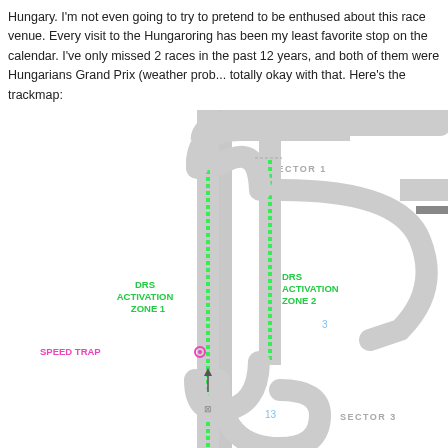Hungary.  I'm not even going to try to pretend to be enthused about this race venue. Every visit to the Hungaroring has been my least favorite stop on the calendar.  I've only missed 2 races in the past 12 years, and both of them were Hungarians Grand Prix (weather prob... totally okay with that.  Here's the trackmap:
[Figure (illustration): Hungaroring F1 track map showing partial layout with DRS Activation Zone 1 (left straight, green), DRS Activation Zone 2 (right straight, green), Speed Trap marker (magenta), turn numbers 1, 2, 3, 13, and Sector 1 and Sector 3 labels. The track is drawn in gray with green DRS zones indicated by dotted green lines.]